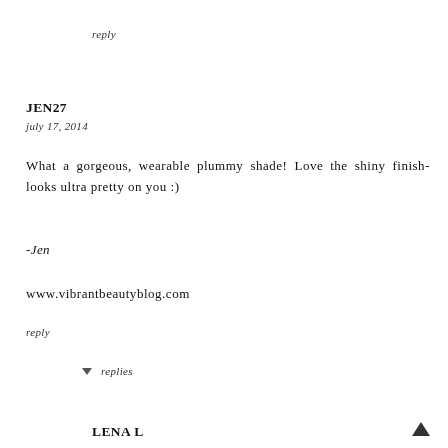reply
JEN27
july 17, 2014
What a gorgeous, wearable plummy shade! Love the shiny finish- looks ultra pretty on you :)
-Jen
www.vibrantbeautyblog.com
reply
▼ replies
LENA L